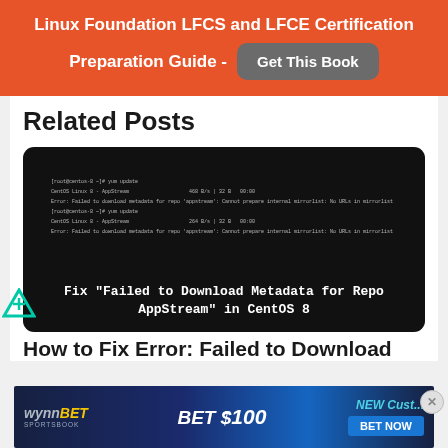Linux Foundation LFCS and LFCE Certification Preparation Guide - Get This Book
Related Posts
[Figure (screenshot): Terminal screenshot showing CentOS 8 yum update error with 'Failed to Download Metadata for Repo AppStream' message, overlaid with white text reading Fix "Failed to Download Metadata for Repo AppStream" in CentOS 8]
How to Fix Error: Failed to Download
[Figure (infographic): WynnBET Sportsbook advertisement banner with text BET $100, NEW Customer offer, BET NOW button]